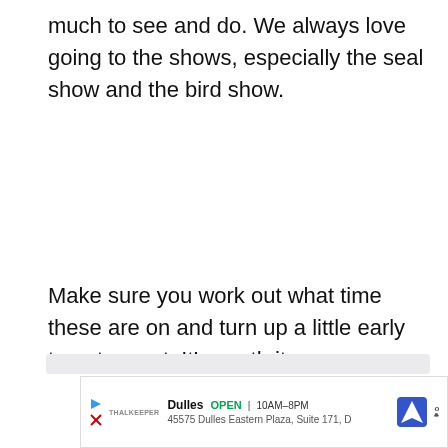much to see and do. We always love going to the shows, especially the seal show and the bird show.
Make sure you work out what time these are on and turn up a little early to get a seat. It’s worth it.
[Figure (screenshot): Gray content area with heart (favorite) FAB button in teal and share FAB button in white]
[Figure (screenshot): Advertisement banner: Dulles store listing showing OPEN 10AM-8PM, 45575 Dulles Eastern Plaza Suite 171 D, with navigation and Waze icons]